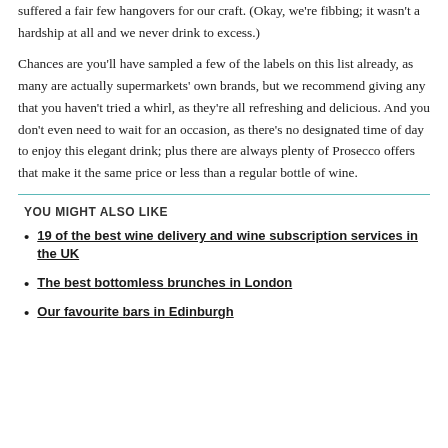suffered a fair few hangovers for our craft. (Okay, we're fibbing; it wasn't a hardship at all and we never drink to excess.)
Chances are you'll have sampled a few of the labels on this list already, as many are actually supermarkets' own brands, but we recommend giving any that you haven't tried a whirl, as they're all refreshing and delicious. And you don't even need to wait for an occasion, as there's no designated time of day to enjoy this elegant drink; plus there are always plenty of Prosecco offers that make it the same price or less than a regular bottle of wine.
YOU MIGHT ALSO LIKE
19 of the best wine delivery and wine subscription services in the UK
The best bottomless brunches in London
Our favourite bars in Edinburgh